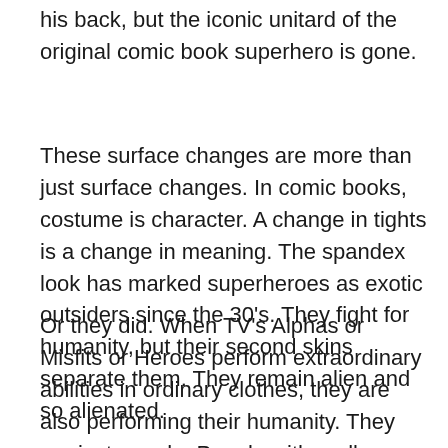his back, but the iconic unitard of the original comic book superhero is gone.
These surface changes are more than just surface changes. In comic books, costume is character. A change in tights is a change in meaning. The spandex look has marked superheroes as exotic outsiders since the 30's. They fight for humanity, but their second skins separate them. They remain alien and so alienated.
Or they did. When TV's Alphas or Misfits or Heroes perform extraordinary abilities in ordinary clothes, they are also performing their humanity. They are just people. People with really freaky skill sets, but at their core (which is a product of their surface) they are human. While their big screen brothers want to remain larger than life, the 21st century TV superhero is dressed for small-scale